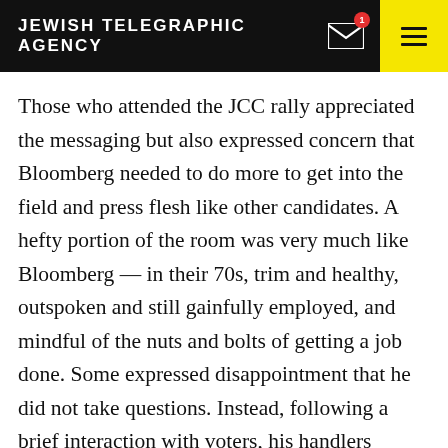JEWISH TELEGRAPHIC AGENCY
Those who attended the JCC rally appreciated the messaging but also expressed concern that Bloomberg needed to do more to get into the field and press flesh like other candidates. A hefty portion of the room was very much like Bloomberg — in their 70s, trim and healthy, outspoken and still gainfully employed, and mindful of the nuts and bolts of getting a job done. Some expressed disappointment that he did not take questions. Instead, following a brief interaction with voters, his handlers hustled him off the stage.
“He’s got to get out!” said Adelaide Schiff, 77, a retired jewelry store owner.